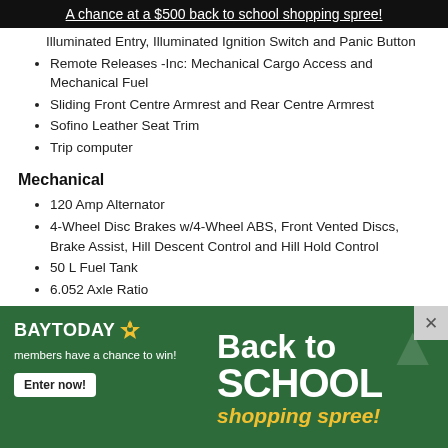A chance at a $500 back to school shopping spree!
Illuminated Entry, Illuminated Ignition Switch and Panic Button
Remote Releases -Inc: Mechanical Cargo Access and Mechanical Fuel
Sliding Front Centre Armrest and Rear Centre Armrest
Sofino Leather Seat Trim
Trip computer
Mechanical
120 Amp Alternator
4-Wheel Disc Brakes w/4-Wheel ABS, Front Vented Discs, Brake Assist, Hill Descent Control and Hill Hold Control
50 L Fuel Tank
6.052 Axle Ratio
60-Amp/Hr Maintenance-Free Battery w/Run Down
[Figure (infographic): BayToday Back to School shopping spree advertisement banner. Green background with BayToday logo and text reading 'Back to SCHOOL shopping spree!' with 'members have a chance to win!' and 'Enter now!' button.]